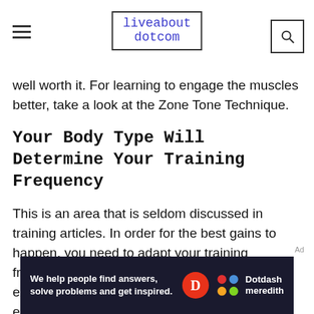liveabout dotcom
well worth it. For learning to engage the muscles better, take a look at the Zone Tone Technique.
Your Body Type Will Determine Your Training Frequency
This is an area that is seldom discussed in training articles. In order for the best gains to happen, you need to adapt your training frequency based on your body type. So for example, a guy like me who is naturally an endomorph (slower metabolism)
[Figure (other): Dotdash Meredith advertisement banner: 'We help people find answers, solve problems and get inspired.' with Dotdash Meredith logo.]